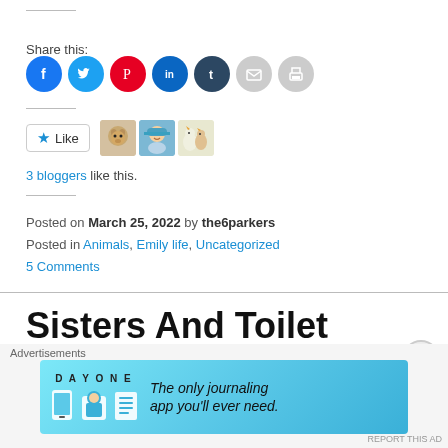Share this:
[Figure (infographic): Social sharing icon buttons: Facebook (blue), Twitter (light blue), Pinterest (red), LinkedIn (dark blue), Tumblr (navy), Email (grey), Print (grey)]
[Figure (infographic): Like button with star icon and 3 blogger avatar thumbnails]
3 bloggers like this.
Posted on March 25, 2022 by the6parkers
Posted in Animals, Emily life, Uncategorized
5 Comments
Sisters And Toilet Paper
[Figure (infographic): Advertisement banner: DAY ONE - The only journaling app you'll ever need.]